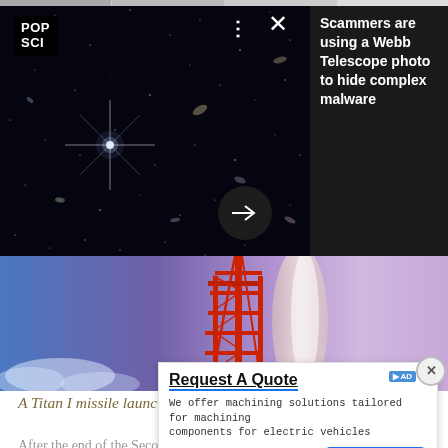[Figure (screenshot): PopSci website screenshot showing a notification/ad overlay with space telescope image and headline about scammers using Webb Telescope photo to hide complex malware, with a dark panel on the right.]
[Figure (photo): A Titan I missile launches from Cape Canaveral, 1960. Photo shows red launch structure against a blue/purple sky with rocket exhaust.]
A Titan I missile launches from Cape Canaveral, 1960.
After the end of the Second World War, the US Army Air Force... ping its own... t strictly... April
[Figure (screenshot): Ad overlay: Request A Quote - We offer machining solutions tailored for machining components for electric vehicles. Modig Machine Tool. Get Quote button.]